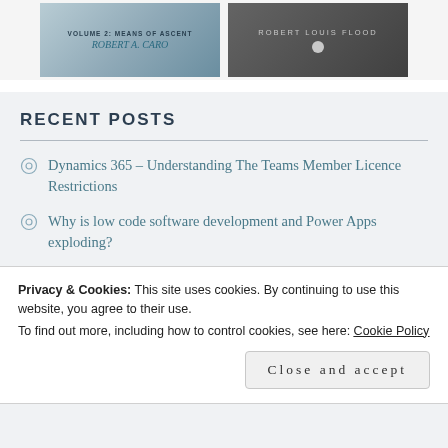[Figure (photo): Two book covers side by side. Left: 'Volume 2: Means of Ascent' by Robert A. Caro with teal text. Right: A dark grey book cover by Robert Louis Flood.]
RECENT POSTS
Dynamics 365 – Understanding The Teams Member Licence Restrictions
Why is low code software development and Power Apps exploding?
Momentum in software development is never a straight line
Privacy & Cookies: This site uses cookies. By continuing to use this website, you agree to their use.
To find out more, including how to control cookies, see here: Cookie Policy
Close and accept